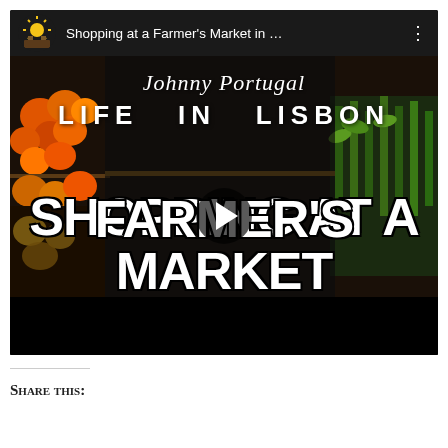[Figure (screenshot): YouTube video thumbnail screenshot showing a farmer's market in Lisbon. Top bar shows channel icon (sun logo), title 'Shopping at a Farmer's Market in …', and three-dot menu. Main image shows produce at a market with overlay text: 'Johnny Portugal', 'LIFE IN LISBON', 'SHOPPING AT A FARMER'S MARKET IN LISBON' with a play button in the center.]
Share this: